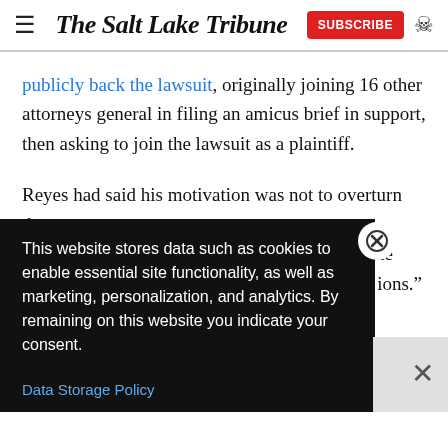The Salt Lake Tribune | SUBSCRIBE
publicly back the lawsuit, originally joining 16 other attorneys general in filing an amicus brief in support, then asking to join the lawsuit as a plaintiff.
Reyes had said his motivation was not to overturn the [election but to] dress the [issue of election] ions."
[Figure (screenshot): Cookie consent banner overlay with text: 'This website stores data such as cookies to enable essential site functionality, as well as marketing, personalization, and analytics. By remaining on this website you indicate your consent.' with a 'Data Storage Policy' link and close buttons.]